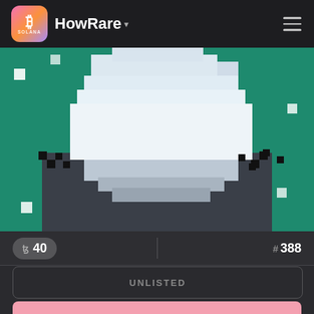HowRare
[Figure (screenshot): Pixel art NFT showing a character with teal/green background and white cloud-like shape, dark body/torso area]
ꜩ 40  # 388
UNLISTED
LAST ◎0.85
[Figure (screenshot): Pixel art NFT showing a character with pink background, navy and yellow hat]